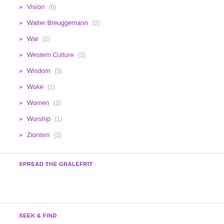» Vision (6)
» Walter Breuggemann (2)
» War (2)
» Western Culture (2)
» Wisdom (3)
» Woke (1)
» Women (2)
» Worship (1)
» Zionism (2)
SPREAD THE GRALEFRIT
SEEK & FIND